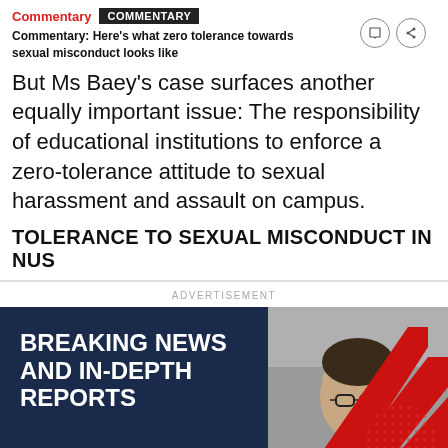Commentary | COMMENTARY
Commentary: Here's what zero tolerance towards sexual misconduct looks like
But Ms Baey's case surfaces another equally important issue: The responsibility of educational institutions to enforce a zero-tolerance attitude to sexual harassment and assault on campus.
TOLERANCE TO SEXUAL MISCONDUCT IN NUS
ADVERTISEMENT
[Figure (illustration): Advertisement banner for a news service showing 'BREAKING NEWS AND IN-DEPTH REPORTS' text in white on dark navy background with a red chevron graphic and a photo of a man with glasses.]